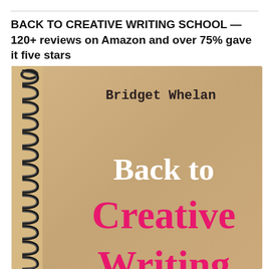BACK TO CREATIVE WRITING SCHOOL — 120+ reviews on Amazon and over 75% gave it five stars
[Figure (illustration): Book cover of 'Back to Creative Writing School' by Bridget Whelan. A spiral-bound notebook with a kraft/cardboard-brown cover. The left side shows a metal spiral binding. Author name 'Bridget Whelan' in bold dark serif/typewriter font at top right. Large white bold text reads 'Back to' in the middle. Large hot-pink bold text reads 'Creative' below that. Partially visible hot-pink bold text 'Writing' at the bottom, cut off.]